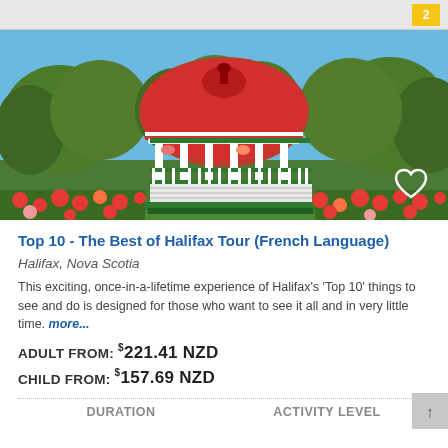[Figure (photo): A red-domed gazebo/bandstand with white columns and green trim, surrounded by lush green trees and colorful flower gardens under a blue sky.]
Top 10 - The Best of Halifax Tour (French Language)
Halifax, Nova Scotia
This exciting, once-in-a-lifetime experience of Halifax's 'Top 10' things to see and do is designed for those who want to see it all and in very little time. more...
ADULT FROM: $221.41 NZD
CHILD FROM: $157.69 NZD
DURATION
ACTIVITY LEVEL